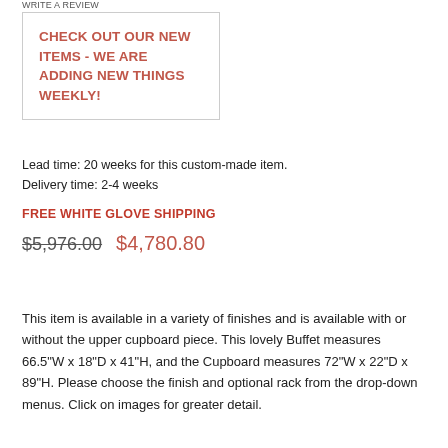WRITE A REVIEW
CHECK OUT OUR NEW ITEMS - WE ARE ADDING NEW THINGS WEEKLY!
Lead time: 20 weeks for this custom-made item.
Delivery time: 2-4 weeks
FREE WHITE GLOVE SHIPPING
$5,976.00  $4,780.80
This item is available in a variety of finishes and is available with or without the upper cupboard piece. This lovely Buffet measures 66.5"W x 18"D x 41"H, and the Cupboard measures 72"W x 22"D x 89"H. Please choose the finish and optional rack from the drop-down menus. Click on images for greater detail.